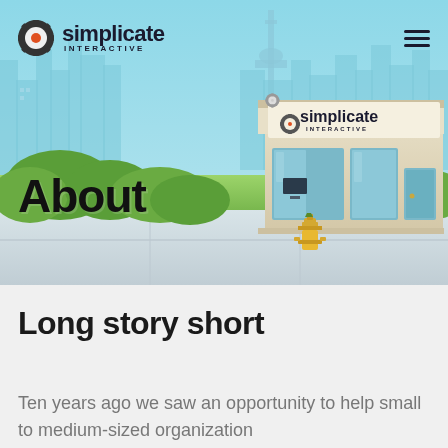[Figure (illustration): Hero banner illustration of a city skyline with cartoon storefront showing the Simplicate Interactive logo, bushes, a fire hydrant, sidewalk, and teal sky. Includes navigation bar with Simplicate Interactive logo and hamburger menu icon. 'About' text overlay in bold black.]
Long story short
Ten years ago we saw an opportunity to help small to medium-sized organization